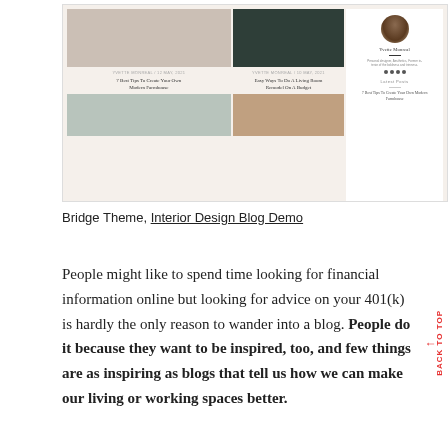[Figure (screenshot): Screenshot of Bridge Theme Interior Design Blog Demo showing a blog layout with post images, titles, and author sidebar]
Bridge Theme, Interior Design Blog Demo
People might like to spend time looking for financial information online but looking for advice on your 401(k) is hardly the only reason to wander into a blog. People do it because they want to be inspired, too, and few things are as inspiring as blogs that tell us how we can make our living or working spaces better.